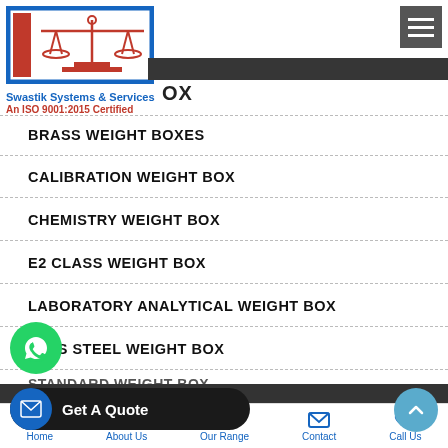[Figure (logo): Swastik Systems & Services logo with balance scales icon]
Swastik Systems & Services
An ISO 9001:2015 Certified
BRASS WEIGHT BOXES
CALIBRATION WEIGHT BOX
CHEMISTRY WEIGHT BOX
E2 CLASS WEIGHT BOX
LABORATORY ANALYTICAL WEIGHT BOX
LESS STEEL WEIGHT BOX
STANDARD WEIGHT BOX
IGHTS BOX
Home   About Us   Our Range   Contact   Call Us